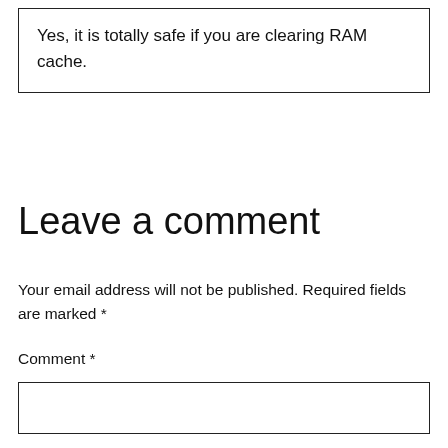Yes, it is totally safe if you are clearing RAM cache.
Leave a comment
Your email address will not be published. Required fields are marked *
Comment *